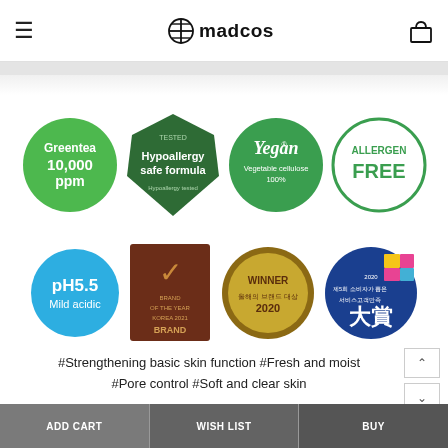madcos
[Figure (infographic): Four certification badges: Greentea 10,000 ppm (green circle), Hypoallergy safe formula Tested (green shield), Vegan Vegetable cellulose 100% (green circle), Allergen Free (green circle outline)]
[Figure (infographic): Four award/certification badges: pH5.5 Mild acidic (blue circle), Brand of the Year Korea 2021 (dark red rectangle), Winner 2020 올해의 브랜드 대상 (gold medal), 2020 제5회 소비자가 뽑은 서비스고객만족 大賞 (blue circle)]
#Strengthening basic skin function #Fresh and moist #Pore control #Soft and clear skin
ADD CART   WISH LIST   BUY